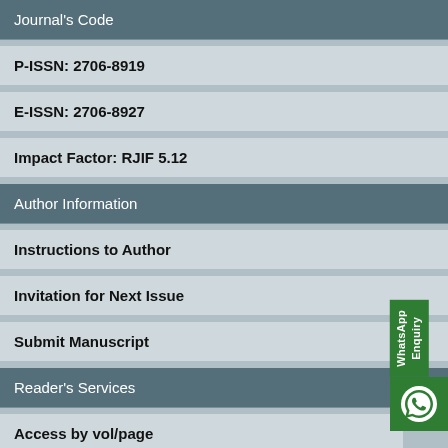Journal's Code
P-ISSN: 2706-8919
E-ISSN: 2706-8927
Impact Factor: RJIF 5.12
Author Information
Instructions to Author
Invitation for Next Issue
Submit Manuscript
Reader's Services
Access by vol/page
Subscription
About the Journal